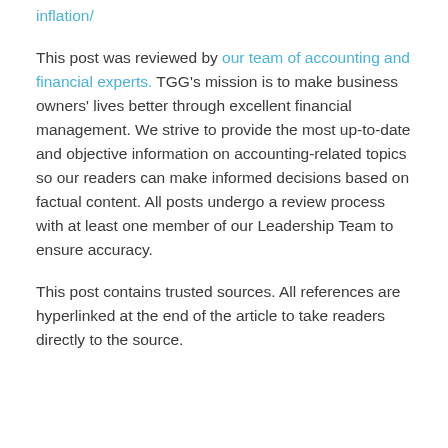inflation/
This post was reviewed by our team of accounting and financial experts. TGG's mission is to make business owners' lives better through excellent financial management. We strive to provide the most up-to-date and objective information on accounting-related topics so our readers can make informed decisions based on factual content. All posts undergo a review process with at least one member of our Leadership Team to ensure accuracy.
This post contains trusted sources. All references are hyperlinked at the end of the article to take readers directly to the source.